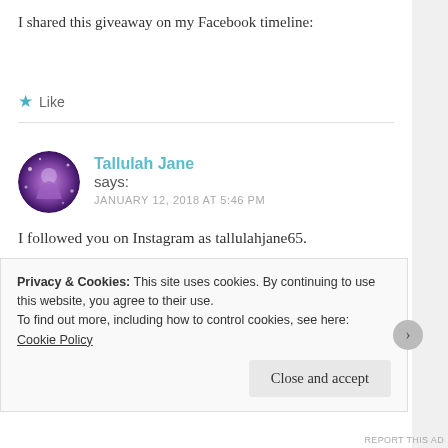I shared this giveaway on my Facebook timeline:
★ Like
Tallulah Jane says: JANUARY 12, 2018 AT 5:46 PM
I followed you on Instagram as tallulahjane65.
★ Like
Privacy & Cookies: This site uses cookies. By continuing to use this website, you agree to their use.
To find out more, including how to control cookies, see here: Cookie Policy
Close and accept